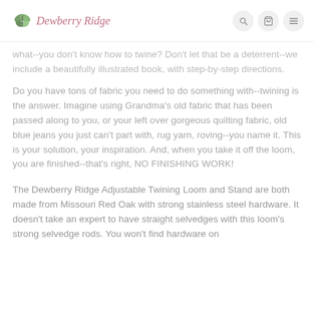Dewberry Ridge
what--you don't know how to twine? Don't let that be a deterrent--we include a beautifully illustrated book, with step-by-step directions.
Do you have tons of fabric you need to do something with--twining is the answer. Imagine using Grandma's old fabric that has been passed along to you, or your left over gorgeous quilting fabric, old blue jeans you just can't part with, rug yarn, roving--you name it. This is your solution, your inspiration. And, when you take it off the loom, you are finished--that's right, NO FINISHING WORK!
The Dewberry Ridge Adjustable Twining Loom and Stand are both made from Missouri Red Oak with strong stainless steel hardware. It doesn't take an expert to have straight selvedges with this loom's strong selvedge rods. You won't find hardware on